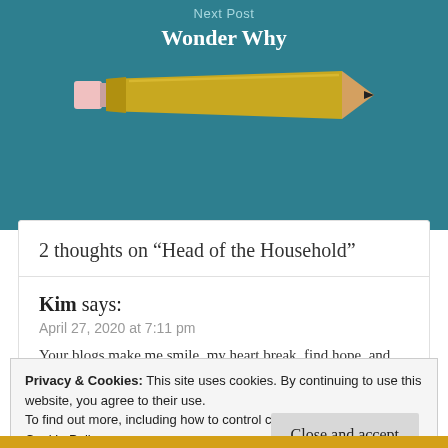Next Post
Wonder Why
[Figure (illustration): A yellow pencil illustration on a teal background]
2 thoughts on “Head of the Household”
Kim says:
April 27, 2020 at 7:11 pm
Your blogs make me smile, my heart break, find hope, and pray.
Privacy & Cookies: This site uses cookies. By continuing to use this website, you agree to their use.
To find out more, including how to control cookies, see here: Cookie Policy